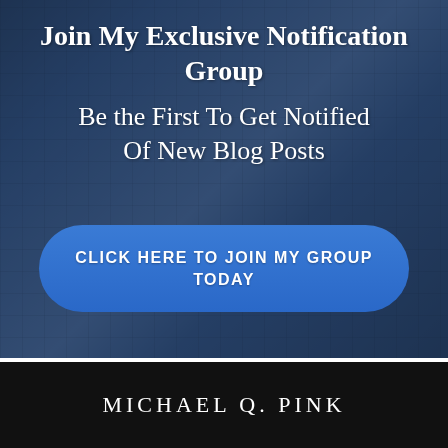[Figure (photo): Background photo of hands typing on a laptop keyboard, overlaid with a dark blue tint]
Join My Exclusive Notification Group
Be the First To Get Notified Of New Blog Posts
CLICK HERE TO JOIN MY GROUP TODAY
MICHAEL Q. PINK